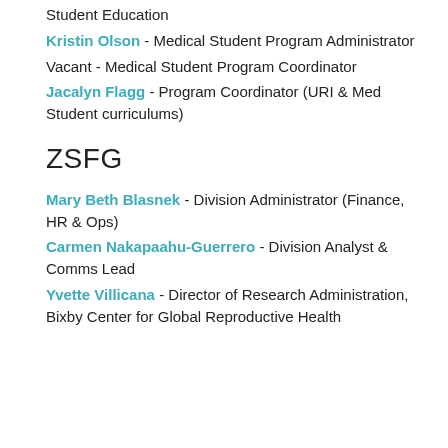Student Education
Kristin Olson - Medical Student Program Administrator
Vacant - Medical Student Program Coordinator
Jacalyn Flagg - Program Coordinator (URI & Med Student curriculums)
ZSFG
Mary Beth Blasnek - Division Administrator (Finance, HR & Ops)
Carmen Nakapaahu-Guerrero - Division Analyst & Comms Lead
Yvette Villicana - Director of Research Administration, Bixby Center for Global Reproductive Health